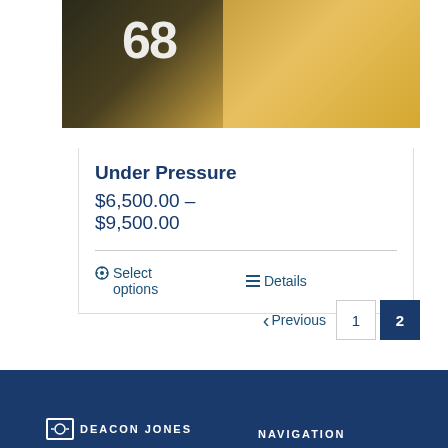[Figure (photo): Sports photo showing football players in gold and black uniforms, jersey number 68 visible]
Under Pressure
$6,500.00 – $9,500.00
⚙ Select options   ≡ Details
‹ Previous  1  2
DEACON JONES   NAVIGATION